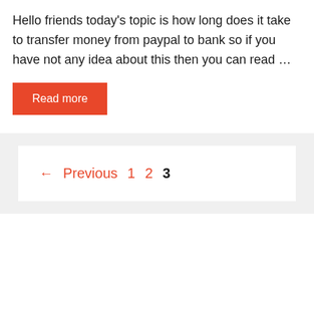Hello friends today's topic is how long does it take to transfer money from paypal to bank so if you have not any idea about this then you can read …
Read more
← Previous 1 2 3